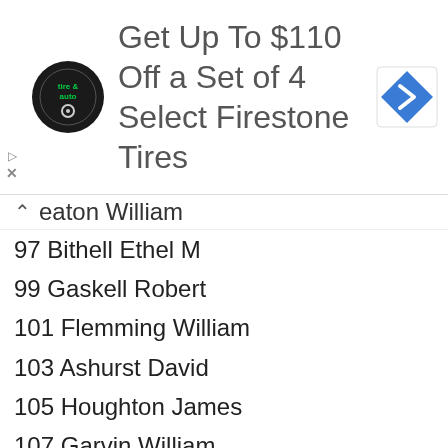[Figure (other): Advertisement banner: Firestone tire & auto logo, text 'Get Up To $110 Off a Set of 4 Select Firestone Tires', blue diamond arrow icon]
eaton William (partial, top cut off)
97 Bithell Ethel M
99 Gaskell Robert
101 Flemming William
103 Ashurst David
105 Houghton James
107 Garvin William
107 Howard Arnold
109 Mannion John
111 Lea Norman
113 Tudor Henry
115 Bryan John
117 Bushell George
119 Peet Jane
123 Thomas Edward